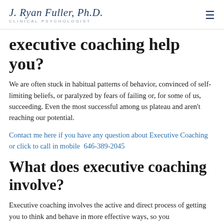J. Ryan Fuller, Ph.D. CLINICAL PSYCHOLOGIST
executive coaching help you?
We are often stuck in habitual patterns of behavior, convinced of self-limiting beliefs, or paralyzed by fears of failing or, for some of us, succeeding. Even the most successful among us plateau and aren't reaching our potential.
Contact me here if you have any question about Executive Coaching or click to call in mobile  646-389-2045
What does executive coaching involve?
Executive coaching involves the active and direct process of getting you to think and behave in more effective ways, so you